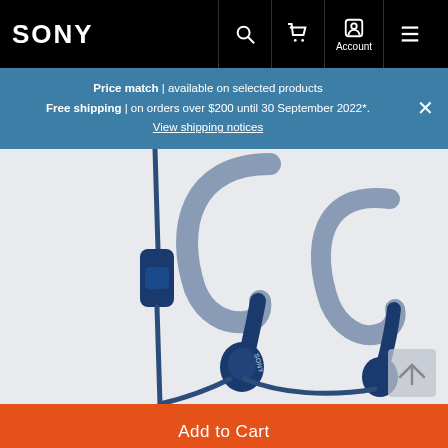SONY
Price match | available on selected products
Free shipping | on orders over $200 until 30 September 2022*.
View shipping notices
[Figure (photo): Sony sport in-ear headphones/earphones in blue color, showing ear hook design with inline remote/mic cable on left side. Two earphones visible showing the over-ear hook arch and ear tip.]
Add to Cart